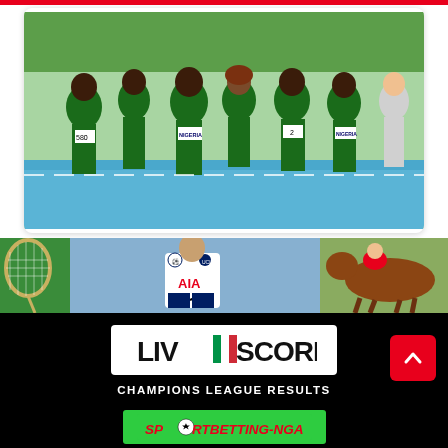[Figure (photo): Group of athletes wearing green Nigeria track and field uniforms on a blue running track, seen from behind, with bib numbers including 580 and 2]
[Figure (photo): Sports collage showing a tennis racket, a Tottenham Hotspur player in white AIA jersey with Champions League badge, and a horse racing scene]
[Figure (logo): Livescore logo in black and white box on black background]
CHAMPIONS LEAGUE RESULTS
[Figure (logo): SPORTBETTING-NGA text logo in red italic on green background with football icon]